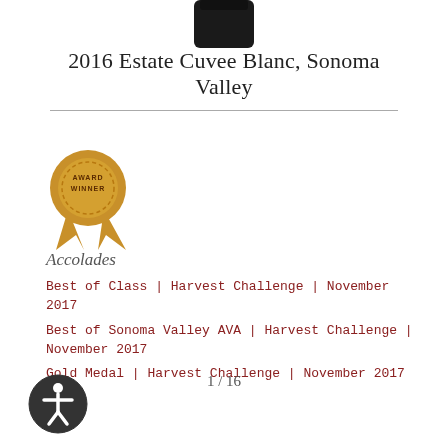[Figure (photo): Bottom of a dark wine bottle, partially visible at top of page]
2016 Estate Cuvee Blanc, Sonoma Valley
[Figure (illustration): Gold award winner medallion/badge with ribbon]
Accolades
Best of Class | Harvest Challenge | November 2017
Best of Sonoma Valley AVA | Harvest Challenge | November 2017
Gold Medal | Harvest Challenge | November 2017
1 / 16